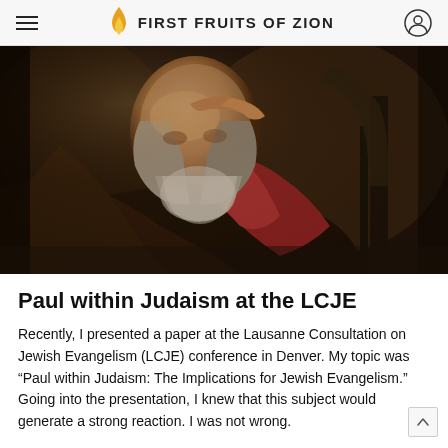FIRST FRUITS OF ZION
[Figure (illustration): Classical oil painting of an elderly bearded man (resembling Paul the Apostle) with his hand raised to his head, wearing dark robes with a red sleeve, in a Rembrandt-like style with dark dramatic lighting.]
Paul within Judaism at the LCJE
Recently, I presented a paper at the Lausanne Consultation on Jewish Evangelism (LCJE) conference in Denver. My topic was “Paul within Judaism: The Implications for Jewish Evangelism.” Going into the presentation, I knew that this subject would generate a strong reaction. I was not wrong.